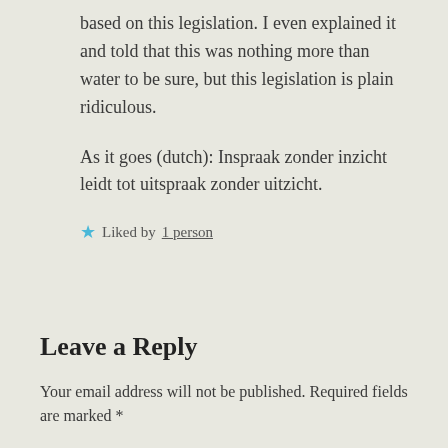based on this legislation. I even explained it and told that this was nothing more than water to be sure, but this legislation is plain ridiculous.
As it goes (dutch): Inspraak zonder inzicht leidt tot uitspraak zonder uitzicht.
★ Liked by 1 person
Leave a Reply
Your email address will not be published. Required fields are marked *